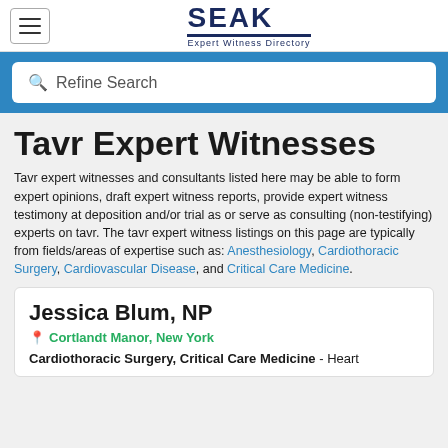SEAK Expert Witness Directory
🔍 Refine Search
Tavr Expert Witnesses
Tavr expert witnesses and consultants listed here may be able to form expert opinions, draft expert witness reports, provide expert witness testimony at deposition and/or trial as or serve as consulting (non-testifying) experts on tavr. The tavr expert witness listings on this page are typically from fields/areas of expertise such as: Anesthesiology, Cardiothoracic Surgery, Cardiovascular Disease, and Critical Care Medicine.
Jessica Blum, NP
Cortlandt Manor, New York
Cardiothoracic Surgery, Critical Care Medicine - Heart